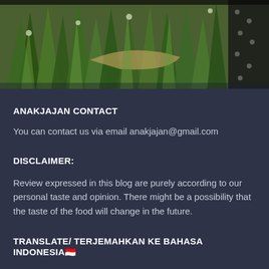[Figure (photo): Top portion of the page showing green plant leaves/grass, with a dark patterned fabric visible on the right side. Photo appears to be of a garden or plant scene.]
ANAKJAJAN CONTACT
You can contact us via email anakjajan@gmail.com
DISCLAIMER:
Review expressed in this blog are purely according to our personal taste and opinion. There might be a possibility that the taste of the food will change in the future.
TRANSLATE/ TERJEMAHKAN KE BAHASA INDONESIA🇮🇩